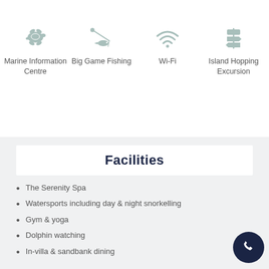[Figure (illustration): Four icons in a row: a turtle icon labeled 'Marine Information Centre', a fishing icon labeled 'Big Game Fishing', a Wi-Fi icon labeled 'Wi-Fi', and a signpost icon labeled 'Island Hopping Excursion']
Facilities
The Serenity Spa
Watersports including day & night snorkelling
Gym & yoga
Dolphin watching
In-villa & sandbank dining